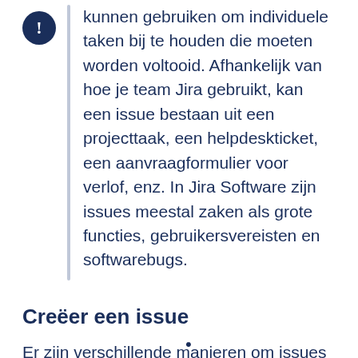kunnen gebruiken om individuele taken bij te houden die moeten worden voltooid. Afhankelijk van hoe je team Jira gebruikt, kan een issue bestaan uit een projecttaak, een helpdeskticket, een aanvraagformulier voor verlof, enz. In Jira Software zijn issues meestal zaken als grote functies, gebruikersvereisten en softwarebugs.
Creëer een issue
Er zijn verschillende manieren om issues aan te maken: